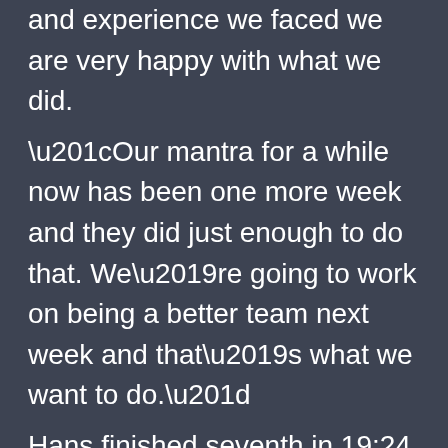and experience we faced we are very happy with what we did.
“Our mantra for a while now has been one more week and they did just enough to do that. We’re going to work on being a better team next week and that’s what we want to do.”
Hans finished seventh in 19:24 to advance as an individual and help the Cougars to a seventh-place team finish.
At the North Jersey, Section 2 Group III meet, the WW-P North finished eighth led by Julia Grande in 25th place and Veda Donthireddy in 30th place.
Overall, sectional weekend was a huge success for the area teams, led by the individual sweep